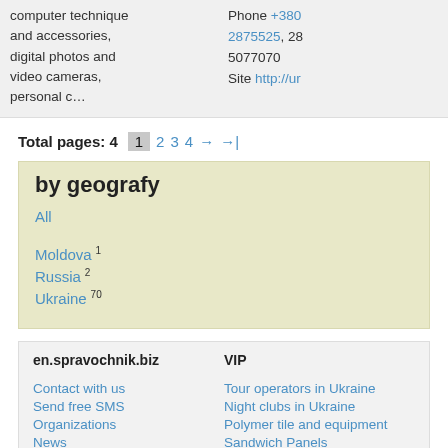computer technique and accessories, digital photos and video cameras, personal c…  Phone +380 2875525, 28 5077070  Site http://ur
Total pages: 4   1   2   3   4   →   →|
by geografy
All
Moldova 1
Russia 2
Ukraine 70
en.spravochnik.biz
VIP
Contact with us
Send free SMS
Organizations
News
goods and services
announcements
Tour operators in Ukraine
Night clubs in Ukraine
Polymer tile and equipment
Sandwich Panels